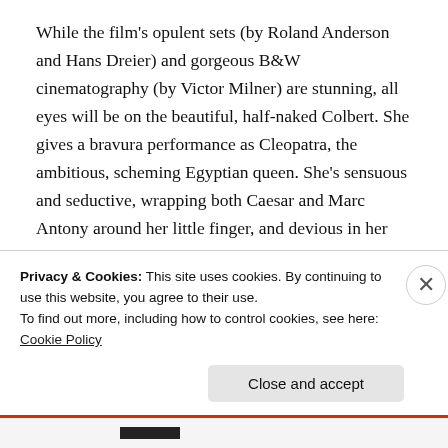While the film's opulent sets (by Roland Anderson and Hans Dreier) and gorgeous B&W cinematography (by Victor Milner) are stunning, all eyes will be on the beautiful, half-naked Colbert. She gives a bravura performance as Cleopatra, the ambitious, scheming Egyptian queen. She's sensuous and seductive, wrapping both Caesar and Marc Antony around her little finger, and devious in her political machinations. If I were compare her to Elizabeth Taylor in the 1963 Joseph L. Mankeiwicz version, I'd have to give the edge to Claudette; Liz may be more voluptuous, but Claudette's definitely a more
Privacy & Cookies: This site uses cookies. By continuing to use this website, you agree to their use.
To find out more, including how to control cookies, see here: Cookie Policy
Close and accept